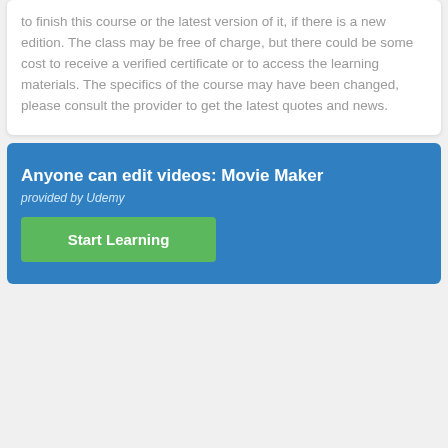to finish this course or the latest version of it, if there is a new edition. The class may be free of charge, but there could be some cost to receive a verified certificate or to access the learning materials. The specifics of the course may have been changed, please consult the provider to get the latest quotes and news.
Anyone can edit videos: Movie Maker
provided by Udemy
Start Learning